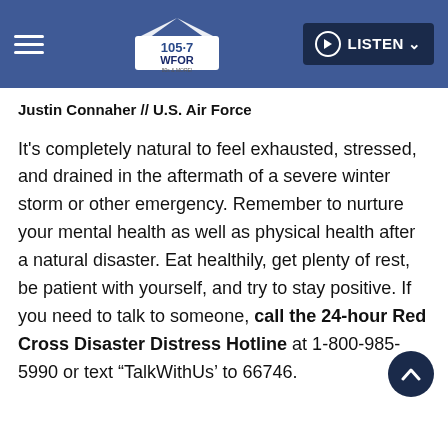105.7 WFOR | LISTEN
Justin Connaher // U.S. Air Force
It's completely natural to feel exhausted, stressed, and drained in the aftermath of a severe winter storm or other emergency. Remember to nurture your mental health as well as physical health after a natural disaster. Eat healthily, get plenty of rest, be patient with yourself, and try to stay positive. If you need to talk to someone, call the 24-hour Red Cross Disaster Distress Hotline at 1-800-985-5990 or text “TalkWithUs’ to 66746.